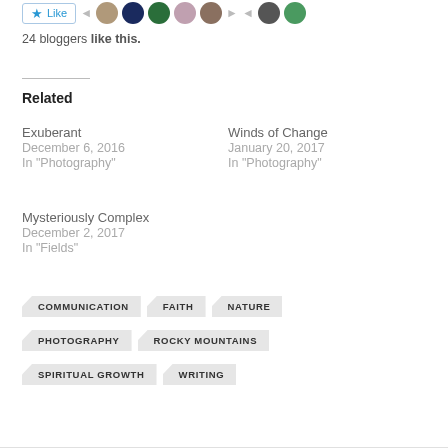24 bloggers like this.
Related
Exuberant
December 6, 2016
In "Photography"
Winds of Change
January 20, 2017
In "Photography"
Mysteriously Complex
December 2, 2017
In "Fields"
COMMUNICATION
FAITH
NATURE
PHOTOGRAPHY
ROCKY MOUNTAINS
SPIRITUAL GROWTH
WRITING